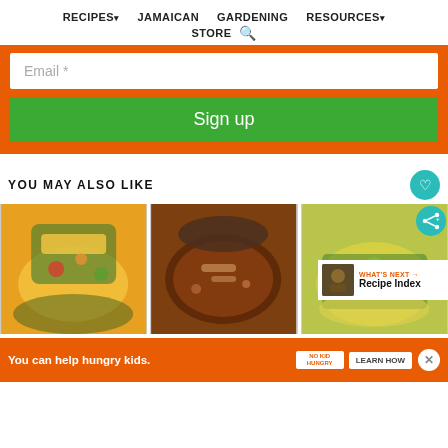RECIPES▾  JAMAICAN  GARDENING  RESOURCES▾  STORE 🔍
Email *
Sign up
YOU MAY ALSO LIKE
[Figure (photo): Three food photos side by side: stuffed taco/pepper with yellow rice and vegetables, a brown stew soup in a bowl, and a green curry vegetable dish in a pot]
WHAT'S NEXT → Recipe Index
You can help hungry kids.  NO KID HUNGRY  LEARN HOW